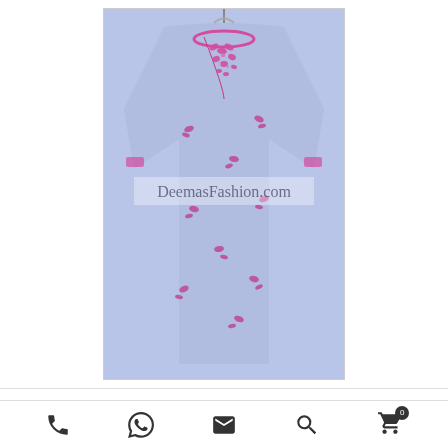[Figure (photo): A light blue/periwinkle georgette shalwar kameez (traditional South Asian outfit) displayed on a hanger. The garment features pink/magenta floral embroidery and embellishments at the neckline and scattered across the fabric. A watermark reading 'DeemasFashion.com' is overlaid on the middle of the image.]
Pakistani Fashion Blue Georgette Shalwar Kameez
[Figure (infographic): Bottom navigation bar with five icons: phone/call icon, WhatsApp icon, email/envelope icon, search/magnifier icon, and shopping cart icon with badge showing 0]